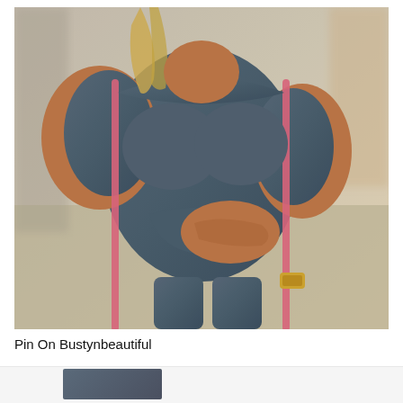[Figure (photo): A woman wearing a grey off-shoulder athletic jumpsuit with pink side stripes, standing outdoors. She has blonde hair, is wearing a gold watch, and has one hand resting on her midsection. The background is blurred.]
Pin On Bustynbeautiful